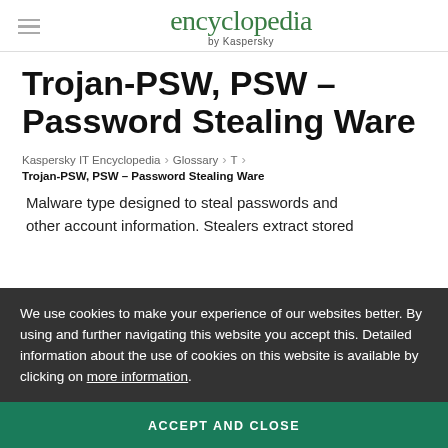encyclopedia by Kaspersky
Trojan-PSW, PSW – Password Stealing Ware
Kaspersky IT Encyclopedia › Glossary › T › Trojan-PSW, PSW – Password Stealing Ware
Malware type designed to steal passwords and other account information. Stealers extract stored passwords from browsers, account data collected by Trojans is usually sent to the command server
We use cookies to make your experience of our websites better. By using and further navigating this website you accept this. Detailed information about the use of cookies on this website is available by clicking on more information.
ACCEPT AND CLOSE